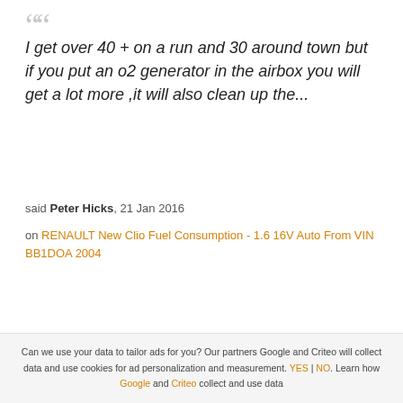I get over 40 + on a run and 30 around town but if you put an o2 generator in the airbox you will get a lot more ,it will also clean up the...
said Peter Hicks, 21 Jan 2016
on RENAULT New Clio Fuel Consumption - 1.6 16V Auto From VIN BB1DOA 2004
Can we use your data to tailor ads for you? Our partners Google and Criteo will collect data and use cookies for ad personalization and measurement. YES | NO. Learn how Google and Criteo collect and use data